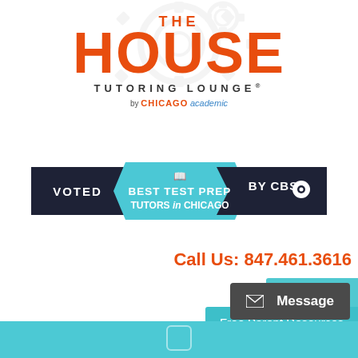[Figure (logo): The House Tutoring Lounge logo by Chicago Academic - orange bold text with gear/cog decorative background element]
[Figure (infographic): Badge/ribbon graphic: 'VOTED BEST TEST PREP TUTORS in CHICAGO BY CBS' - dark navy flanking panels with teal center ribbon]
Call Us: 847.461.3616
Client Login
Free Parent Resources
Message